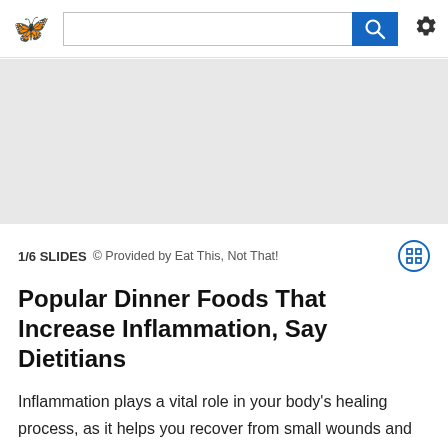[Figure (screenshot): Website navigation bar with a butterfly/logo icon, a search text input box, a blue search button with magnifying glass icon, and a gear settings icon]
[Figure (photo): Gray placeholder image area for a slideshow]
1/6 SLIDES © Provided by Eat This, Not That!
Popular Dinner Foods That Increase Inflammation, Say Dietitians
Inflammation plays a vital role in your body's healing process, as it helps you recover from small wounds and infections. But when your body remains inflamed over long periods of time, it can produce the opposite effect. In fact, chronic inflammation has been linked with a whole host of dangerous health...